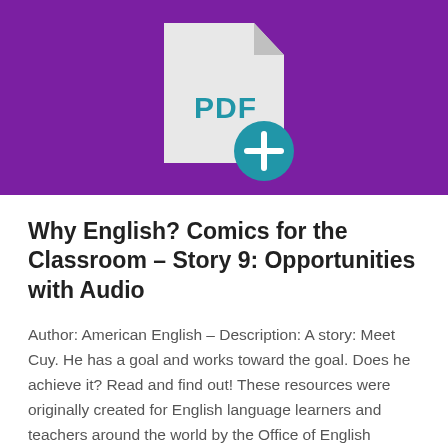[Figure (illustration): Purple banner background with a PDF file icon (white document with folded corner and 'PDF' text in teal/blue) and a teal circle with a plus sign overlapping the bottom-right of the document icon.]
Why English? Comics for the Classroom – Story 9: Opportunities with Audio
Author: American English – Description: A story: Meet Cuy. He has a goal and works toward the goal. Does he achieve it? Read and find out! These resources were originally created for English language learners and teachers around the world by the Office of English Language Programs in the Bureau of Educational and Cultural Affairs at the U.S.